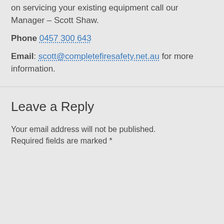on servicing your existing equipment call our Manager – Scott Shaw.
Phone 0457 300 643
Email: scott@completefiresafety.net.au for more information.
Leave a Reply
Your email address will not be published. Required fields are marked *